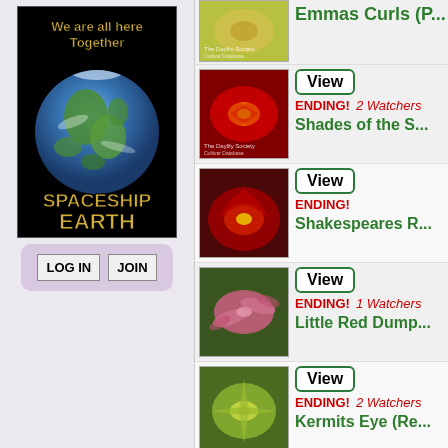[Figure (illustration): Spaceship Earth globe image with text 'We are all here Together SPACESHIP EARTH' on black background]
LOG IN    JOIN
[Figure (photo): Red daylily flower photo thumbnail]
View
ENDING!  2 Watchers
Emmas Curls (P...
[Figure (photo): Red daylily with yellow center flower thumbnail]
View
ENDING!
Shades of the S...
[Figure (photo): Dark red ruffled daylily flower thumbnail]
View
ENDING!
Shakespeares R...
[Figure (photo): Pink spidery daylily flowers thumbnail]
View
ENDING!  1 Watchers
Little Red Dump...
[Figure (photo): Green/yellow star-shaped daylily thumbnail]
View
ENDING!  2 Watchers
Kermits Eye (Re...
[Figure (photo): Purple/mauve orchid-like flower thumbnail]
View
ENDING!